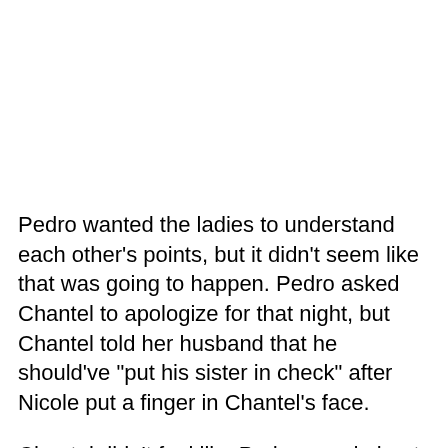Pedro wanted the ladies to understand each other's points, but it didn't seem like that was going to happen. Pedro asked Chantel to apologize for that night, but Chantel told her husband that he should've "put his sister in check" after Nicole put a finger in Chantel's face.
Chantel didn't feel like Pedro cared about her, and she wondered what she was fighting for.
"Why is he trying to get me to apologize to her for